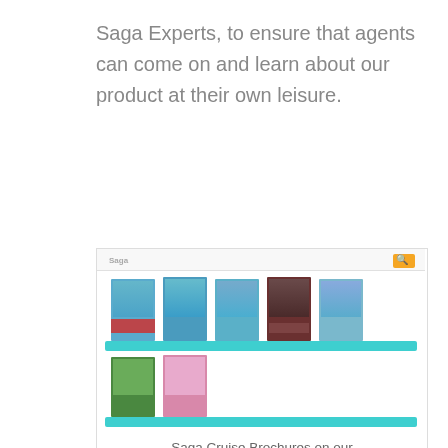Saga Experts, to ensure that agents can come on and learn about our product at their own leisure.
[Figure (screenshot): Screenshot of a digital brochure rack interface showing Saga cruise brochures displayed on two turquoise shelves. The top shelf has five brochures with coastal/travel imagery, and the bottom shelf has two brochures. A Saga logo and search button appear in the browser-style header.]
Saga Cruise Brochures on our Brochure Racks